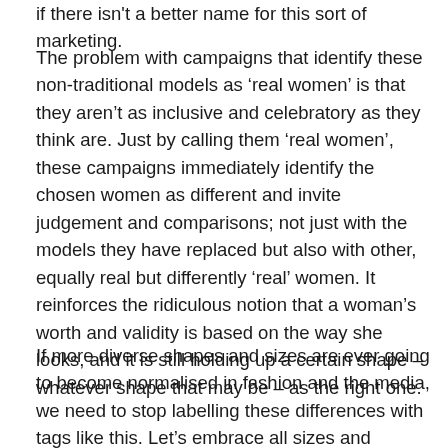if there isn't a better name for this sort of marketing.
The problem with campaigns that identify these non-traditional models as ‘real women’ is that they aren’t as inclusive and celebratory as they think are. Just by calling them ‘real women’, these campaigns immediately identify the chosen women as different and invite judgement and comparisons; not just with the models they have replaced but also with other, equally real but differently ‘real’ women. It reinforces the ridiculous notion that a woman’s worth and validity is based on the way she looks, and it is still holding up a certain shape – whatever shape that may be – as the right one.
If more diverse shapes and sizes are ever going to become normalised in fashion and the media, we need to stop labelling these differences with tags like this. Let’s embrace all sizes and shapes (and colours, and ages too